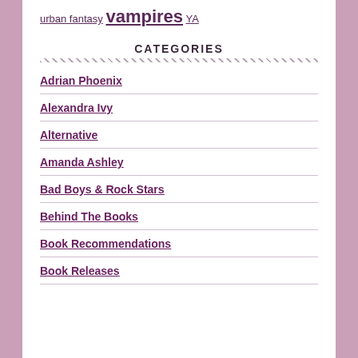urban fantasy vampires YA
CATEGORIES
Adrian Phoenix
Alexandra Ivy
Alternative
Amanda Ashley
Bad Boys & Rock Stars
Behind The Books
Book Recommendations
Book Releases